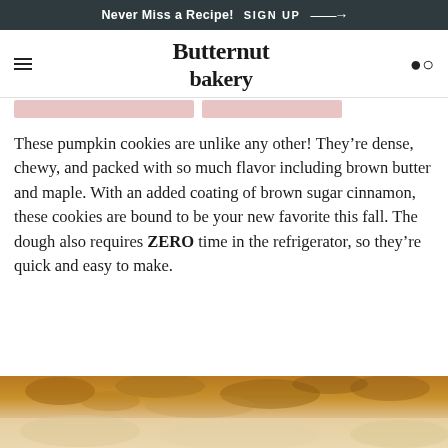Never Miss a Recipe! SIGN UP →
Butternut bakery
These pumpkin cookies are unlike any other! They're dense, chewy, and packed with so much flavor including brown butter and maple. With an added coating of brown sugar cinnamon, these cookies are bound to be your new favorite this fall. The dough also requires ZERO time in the refrigerator, so they're quick and easy to make.
[Figure (photo): Close-up photo of a pumpkin cookie with brown sugar cinnamon coating, partially visible at bottom of page]